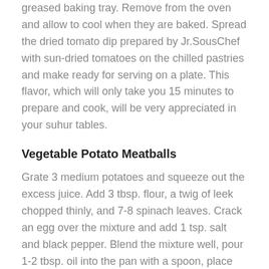greased baking tray. Remove from the oven and allow to cool when they are baked. Spread the dried tomato dip prepared by Jr.SousChef with sun-dried tomatoes on the chilled pastries and make ready for serving on a plate. This flavor, which will only take you 15 minutes to prepare and cook, will be very appreciated in your suhur tables.
Vegetable Potato Meatballs
Grate 3 medium potatoes and squeeze out the excess juice. Add 3 tbsp. flour, a twig of leek chopped thinly, and 7-8 spinach leaves. Crack an egg over the mixture and add 1 tsp. salt and black pepper. Blend the mixture well, pour 1-2 tbsp. oil into the pan with a spoon, place the mixture in small buns and cook both sides.
Oyster Mushroom Soup
This soup, which you can prepare with cultivated